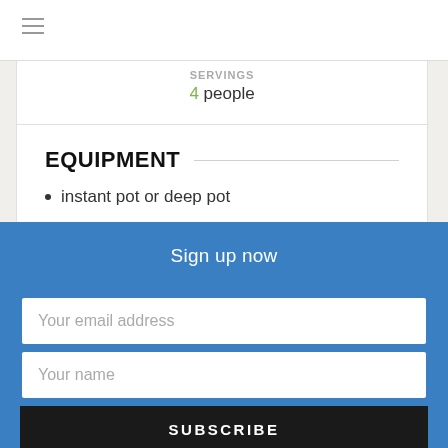≡
SERVINGS
4 people
EQUIPMENT
instant pot or deep pot
Cutting board
Knife
INGREDIENTS
1 tsp butter
Sign up now
Your email address
Your name
SUBSCRIBE